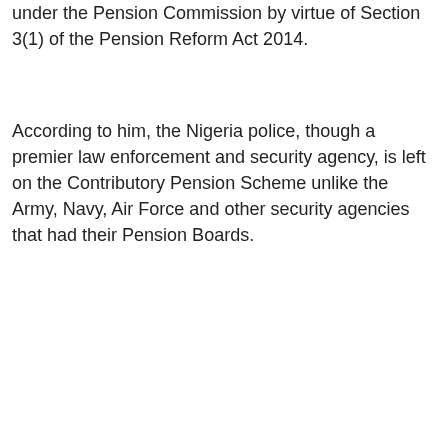under the Pension Commission by virtue of Section 3(1) of the Pension Reform Act 2014.
According to him, the Nigeria police, though a premier law enforcement and security agency, is left on the Contributory Pension Scheme unlike the Army, Navy, Air Force and other security agencies that had their Pension Boards.